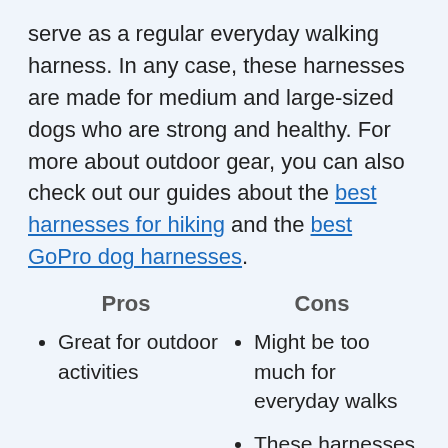serve as a regular everyday walking harness. In any case, these harnesses are made for medium and large-sized dogs who are strong and healthy. For more about outdoor gear, you can also check out our guides about the best harnesses for hiking and the best GoPro dog harnesses.
Pros
Cons
Great for outdoor activities
Might be too much for everyday walks
These harnesses can trap in heat in
Customizable